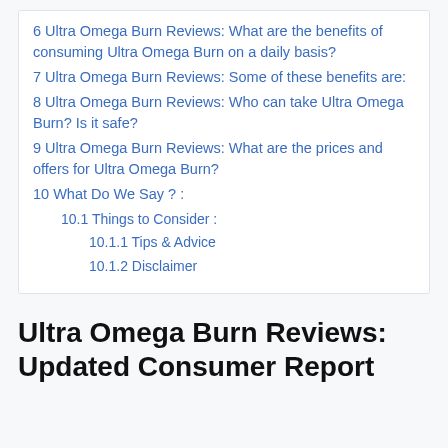6 Ultra Omega Burn Reviews: What are the benefits of consuming Ultra Omega Burn on a daily basis?
7 Ultra Omega Burn Reviews: Some of these benefits are:
8 Ultra Omega Burn Reviews: Who can take Ultra Omega Burn? Is it safe?
9 Ultra Omega Burn Reviews: What are the prices and offers for Ultra Omega Burn?
10 What Do We Say ? :
10.1 Things to Consider :
10.1.1 Tips & Advice
10.1.2 Disclaimer
Ultra Omega Burn Reviews: Updated Consumer Report